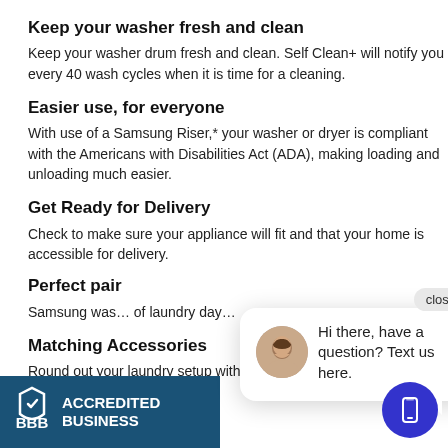Keep your washer fresh and clean
Keep your washer drum fresh and clean. Self Clean+ will notify you every 40 wash cycles when it is time for a cleaning.
Easier use, for everyone
With use of a Samsung Riser,* your washer or dryer is compliant with the Americans with Disabilities Act (ADA), making loading and unloading much easier.
Get Ready for Delivery
Check to make sure your appliance will fit and that your home is accessible for delivery.
Perfect pair
Samsung was… of laundry day…
Matching Accessories
Round out your laundry setup with a matching dryer… more.
[Figure (screenshot): Chat popup overlay with close button, avatar photo of a woman, and text: Hi there, have a question? Text us here.]
[Figure (logo): BBB Accredited Business badge with teal background and white text]
[Figure (other): Blue circular mobile chat button with phone icon]